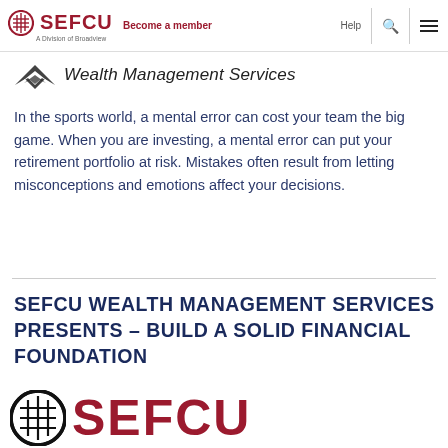SEFCU – A Division of Broadview | Become a member | Help
[Figure (logo): Wealth Management Services logo with stylized bird/wing icon and italic text 'Wealth Management Services']
In the sports world, a mental error can cost your team the big game. When you are investing, a mental error can put your retirement portfolio at risk. Mistakes often result from letting misconceptions and emotions affect your decisions.
SEFCU WEALTH MANAGEMENT SERVICES PRESENTS – BUILD A SOLID FINANCIAL FOUNDATION
[Figure (logo): Large SEFCU logo: circular black crosshatch emblem on the left, red bold SEFCU wordmark on the right]